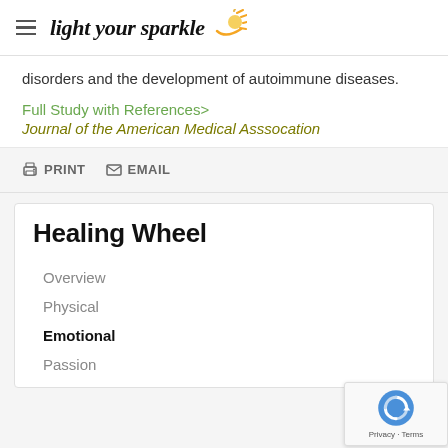light your sparkle
disorders and the development of autoimmune diseases.
Full Study with References>
Journal of the American Medical Asssocation
PRINT  EMAIL
Healing Wheel
Overview
Physical
Emotional
Passion